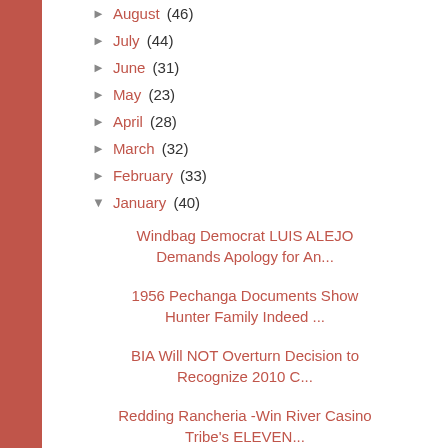► August (46)
► July (44)
► June (31)
► May (23)
► April (28)
► March (32)
► February (33)
▼ January (40)
Windbag Democrat LUIS ALEJO Demands Apology for An...
1956 Pechanga Documents Show Hunter Family Indeed ...
BIA Will NOT Overturn Decision to Recognize 2010 C...
Redding Rancheria -Win River Casino Tribe's ELEVEN...